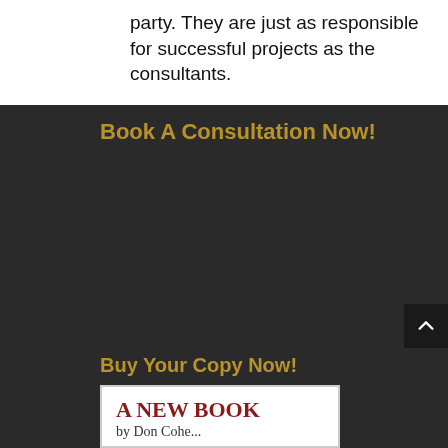party. They are just as responsible for successful projects as the consultants.
Book A Consultation Now!
Buy Your Copy Now!
[Figure (other): Book cover showing 'A NEW BOOK' in bold red serif text on white background with partial author line below]